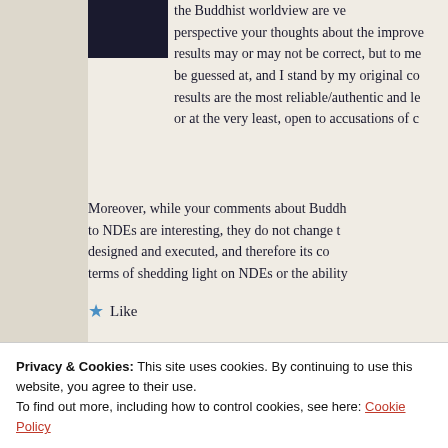[Figure (photo): Dark avatar/profile image thumbnail in top left of content area]
the Buddhist worldview are ve... perspective your thoughts about the improve... results may or may not be correct, but to me... be guessed at, and I stand by my original co... results are the most reliable/authentic and le... or at the very least, open to accusations of c...
Moreover, while your comments about Buddh... to NDEs are interesting, they do not change t... designed and executed, and therefore its co... terms of shedding light on NDEs or the ability...
★ Like
Privacy & Cookies: This site uses cookies. By continuing to use this website, you agree to their use. To find out more, including how to control cookies, see here: Cookie Policy
Close and accept
David on April 25, 2019 at 1:00 pm